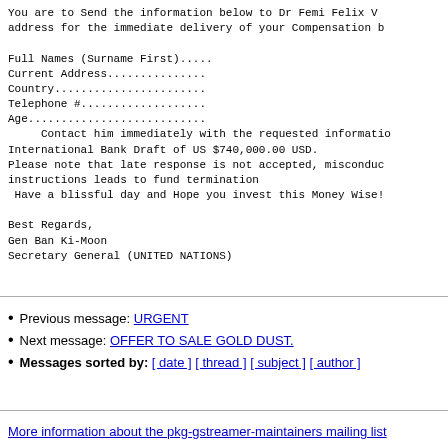You are to Send the information below to Dr Femi Felix V address for the immediate delivery of your Compensation b

Full Names (Surname First).....
Current Address...............
Country.......................
Telephone #...................
Age...........................
     Contact him immediately with the requested informatio International Bank Draft of US $740,000.00 USD.
Please note that late response is not accepted, misconduc instructions leads to fund termination
 Have a blissful day and Hope you invest this Money Wise!

Best Regards,
Gen Ban Ki-Moon
Secretary General (UNITED NATIONS)
Previous message: URGENT
Next message: OFFER TO SALE GOLD DUST.
Messages sorted by: [ date ] [ thread ] [ subject ] [ author ]
More information about the pkg-gstreamer-maintainers mailing list